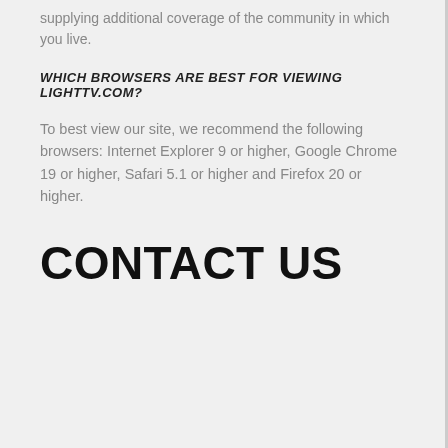supplying additional coverage of the community in which you live.
WHICH BROWSERS ARE BEST FOR VIEWING LIGHTTV.COM?
To best view our site, we recommend the following browsers: Internet Explorer 9 or higher, Google Chrome 19 or higher, Safari 5.1 or higher and Firefox 20 or higher.
CONTACT US